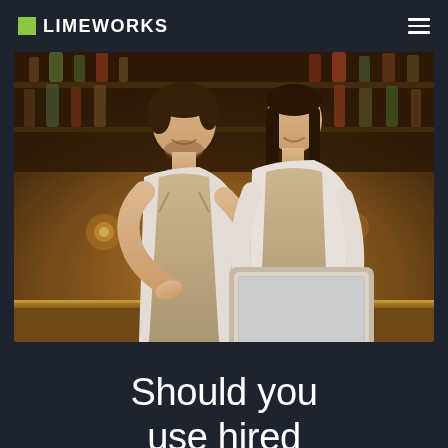LIMEWORKS
[Figure (photo): Two restaurant workers wearing white shirts and beige aprons standing together looking at a tablet device, smiling, in front of a bar with bottles on shelves and warm ambient lighting]
Should you use hired talent or your